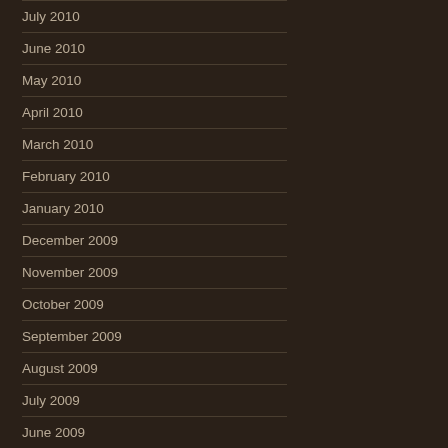July 2010
June 2010
May 2010
April 2010
March 2010
February 2010
January 2010
December 2009
November 2009
October 2009
September 2009
August 2009
July 2009
June 2009
April 2009
March 2009
February 2009
November 2008